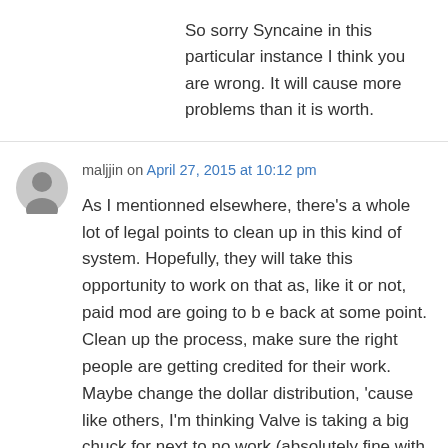So sorry Syncaine in this particular instance I think you are wrong. It will cause more problems than it is worth.
maljjin on April 27, 2015 at 10:12 pm
As I mentionned elsewhere, there's a whole lot of legal points to clean up in this kind of system. Hopefully, they will take this opportunity to work on that as, like it or not, paid mod are going to be back at some point. Clean up the process, make sure the right people are getting credited for their work. Maybe change the dollar distribution, 'cause like others, I'm thinking Valve is taking a big chuck for next to no work (absolutely fine with Bethesda receving a cut, it's